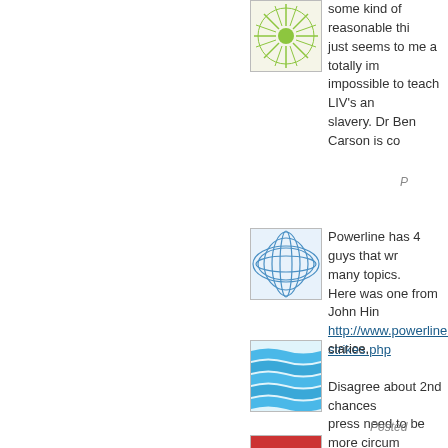[Figure (illustration): Green sunburst/radial avatar icon]
some kind of reasonable thin... just seems to me a totally imp... impossible to teach LIV's and slavery. Dr Ben Carson is co...
P...
[Figure (illustration): Blue geometric mesh/net pattern avatar icon]
Powerline has 4 guys that wr... many topics.
Here was one from John Hin... http://www.powerlineblog.c... strikes.php
[Figure (illustration): Blue waves/ripple pattern avatar icon]
clarice,

Disagree about 2nd chances... press need to be more circum... by the enemy, don't you think... before. Do I have to bring up
Posted...
[Figure (illustration): Red/orange partial avatar icon at bottom]